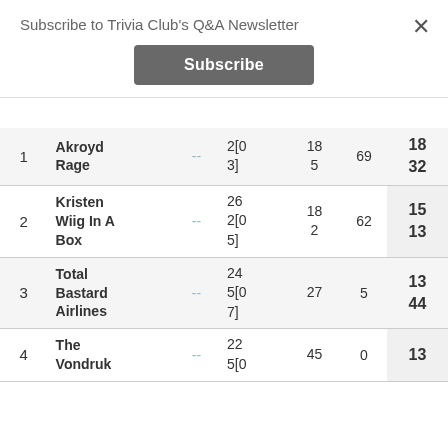Subscribe to Trivia Club's Q&A Newsletter
Subscribe
×
| # | Name |  | Score | Col5 | Col6 | Total |
| --- | --- | --- | --- | --- | --- | --- |
| 1 | Akroyd Rage | -- | 2[0
3] | 18
5 | 69 | 18
32 |
| 2 | Kristen Wiig In A Box | -- | 26
2[0
5] | 18
2 | 62 | 15
13 |
| 3 | Total Bastard Airlines | -- | 24
5[0
7] | 27 | 5 | 13
44 |
| 4 | The Vondruk | -- | 22
5[0 | 45 | 0 | 13 |